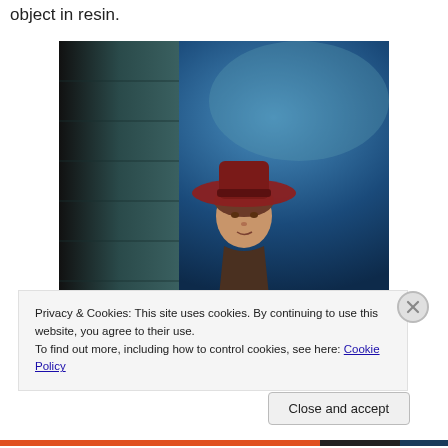object in resin.
[Figure (illustration): Painting or book cover illustration showing a young person wearing a wide-brimmed red/brown hat, peeking from behind a dark stone tower or column, against a blue atmospheric background.]
Privacy & Cookies: This site uses cookies. By continuing to use this website, you agree to their use.
To find out more, including how to control cookies, see here: Cookie Policy
Close and accept